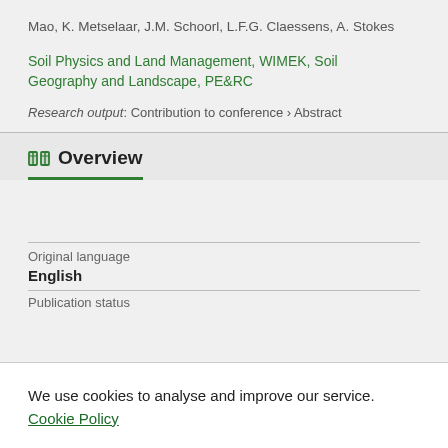Mao, K. Metselaar, J.M. Schoorl, L.F.G. Claessens, A. Stokes
Soil Physics and Land Management, WIMEK, Soil Geography and Landscape, PE&RC
Research output: Contribution to conference › Abstract
Overview
Original language
English
Publication status
We use cookies to analyse and improve our service. Cookie Policy